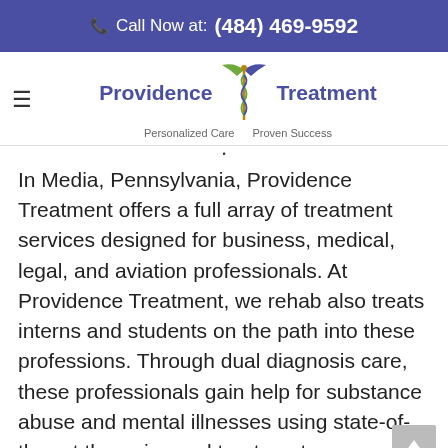Call Now at: (484) 469-9592
[Figure (logo): Providence Treatment logo with caduceus symbol, tagline 'Personalized Care  Proven Success']
In Media, Pennsylvania, Providence Treatment offers a full array of treatment services designed for business, medical, legal, and aviation professionals. At Providence Treatment, we rehab also treats interns and students on the path into these professions. Through dual diagnosis care, these professionals gain help for substance abuse and mental illnesses using state-of-the-art therapies and treatments.